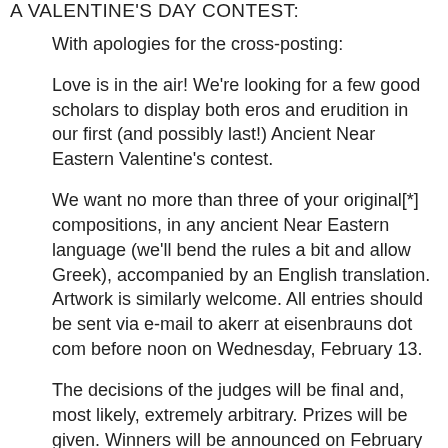A VALENTINE'S DAY CONTEST:
With apologies for the cross-posting:
Love is in the air! We're looking for a few good scholars to display both eros and erudition in our first (and possibly last!) Ancient Near Eastern Valentine's contest.
We want no more than three of your original[*] compositions, in any ancient Near Eastern language (we'll bend the rules a bit and allow Greek), accompanied by an English translation. Artwork is similarly welcome. All entries should be sent via e-mail to akerr at eisenbrauns dot com before noon on Wednesday, February 13.
The decisions of the judges will be final and, most likely, extremely arbitrary. Prizes will be given. Winners will be announced on February 14, 2008, and winning entries will be showcased on the Eisenbrauns website. Submitting an entry constitutes permission to reproduce your work.